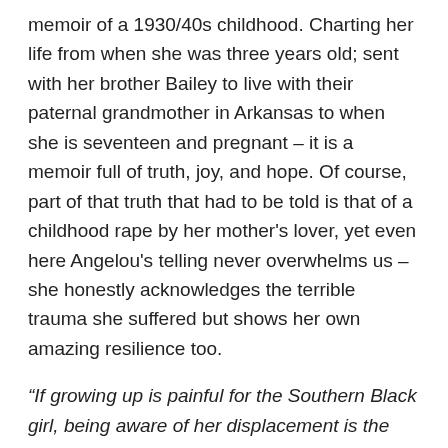memoir of a 1930/40s childhood. Charting her life from when she was three years old; sent with her brother Bailey to live with their paternal grandmother in Arkansas to when she is seventeen and pregnant – it is a memoir full of truth, joy, and hope. Of course, part of that truth that had to be told is that of a childhood rape by her mother's lover, yet even here Angelou's telling never overwhelms us – she honestly acknowledges the terrible trauma she suffered but shows her own amazing resilience too.
“If growing up is painful for the Southern Black girl, being aware of her displacement is the rust on the razor that threatens the throat.

It is an unnecessary insult.”
Her parents having separated, when Maya is three and her beloved brother four they are sent to live with their